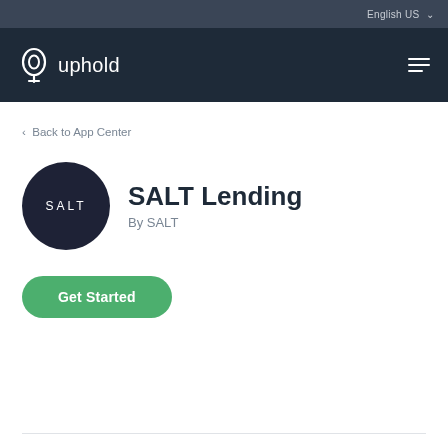English US
[Figure (logo): Uphold logo mark (oval shape icon) and 'uphold' wordmark in white, on dark navy background, with hamburger menu icon on right]
< Back to App Center
[Figure (logo): SALT circular logo — dark navy circle with white text 'SALT' in spaced uppercase letters]
SALT Lending
By SALT
Get Started